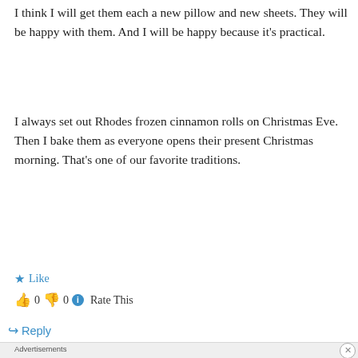I think I will get them each a new pillow and new sheets. They will be happy with them. And I will be happy because it's practical.
I always set out Rhodes frozen cinnamon rolls on Christmas Eve. Then I bake them as everyone opens their present Christmas morning. That's one of our favorite traditions.
★ Like
👍 0 👎 0 ℹ Rate This
↪ Reply
Advertisements
[Figure (screenshot): Victoria's Secret advertisement banner with model, logo, and 'SHOP THE COLLECTION / SHOP NOW' text on pink background]